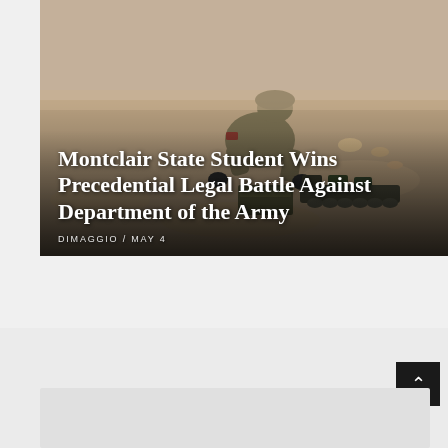[Figure (photo): A soldier in desert camouflage crouching over military equipment (ammunition/ordnance) on sandy ground. The photo has a dark overlay at the bottom with white text overlaid.]
Montclair State Student Wins Precedential Legal Battle Against Department of the Army
DIMAGGIO / MAY 4
[Figure (logo): The Montclarion logo shown as curved arc text at the bottom of the page on a light gray background.]